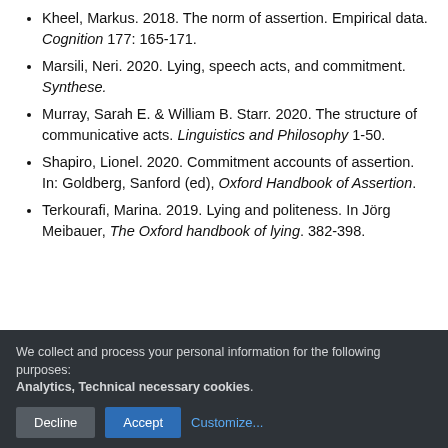Kheel, Markus. 2018. The norm of assertion. Empirical data. Cognition 177: 165-171.
Marsili, Neri. 2020. Lying, speech acts, and commitment. Synthese.
Murray, Sarah E. & William B. Starr. 2020. The structure of communicative acts. Linguistics and Philosophy 1-50.
Shapiro, Lionel. 2020. Commitment accounts of assertion. In: Goldberg, Sanford (ed), Oxford Handbook of Assertion.
Terkourafi, Marina. 2019. Lying and politeness. In Jörg Meibauer, The Oxford handbook of lying. 382-398.
We collect and process your personal information for the following purposes: Analytics, Technical necessary cookies.